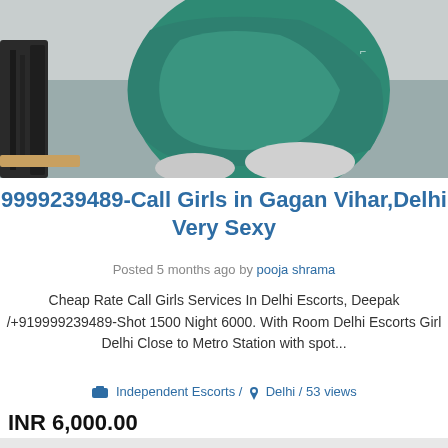[Figure (photo): Photo of a person crouching/seated, wearing teal/green athletic clothing, on a grey textured surface with dark equipment visible on the left side.]
9999239489-Call Girls in Gagan Vihar,Delhi Very Sexy
Posted 5 months ago by pooja shrama
Cheap Rate Call Girls Services In Delhi Escorts, Deepak /+919999239489-Shot 1500 Night 6000. With Room Delhi Escorts Girl Delhi Close to Metro Station with spot...
Independent Escorts / Delhi / 53 views
INR 6,000.00